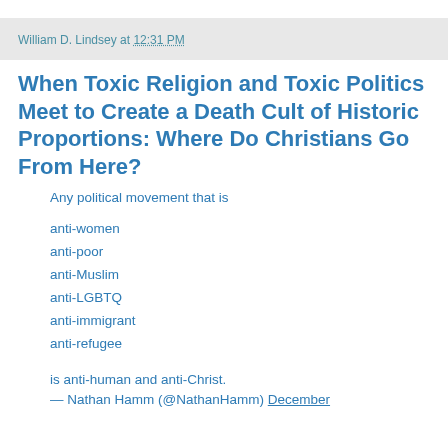William D. Lindsey at 12:31 PM
When Toxic Religion and Toxic Politics Meet to Create a Death Cult of Historic Proportions: Where Do Christians Go From Here?
Any political movement that is
anti-women
anti-poor
anti-Muslim
anti-LGBTQ
anti-immigrant
anti-refugee
is anti-human and anti-Christ.
— Nathan Hamm (@NathanHamm) December